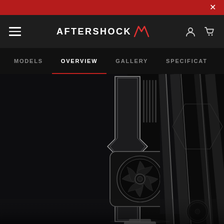× (close button)
AFTERSHOCK (logo with navigation icons)
MODELS  OVERVIEW  GALLERY  SPECIFICAT
[Figure (photo): Dark dramatic product photo of an NVIDIA RTX GPU graphics card with chrome/silver frame and fan visible, shot against black background with geometric light streaks]